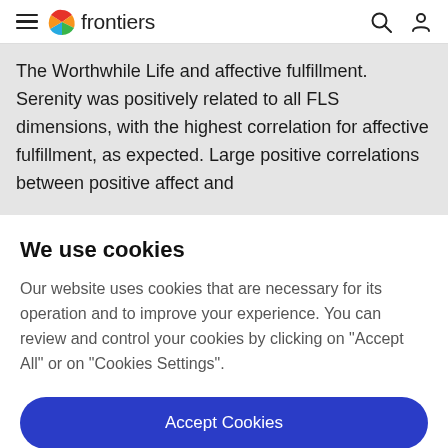frontiers
The Worthwhile Life and affective fulfillment. Serenity was positively related to all FLS dimensions, with the highest correlation for affective fulfillment, as expected. Large positive correlations between positive affect and
We use cookies
Our website uses cookies that are necessary for its operation and to improve your experience. You can review and control your cookies by clicking on "Accept All" or on "Cookies Settings".
Accept Cookies
Cookies Settings